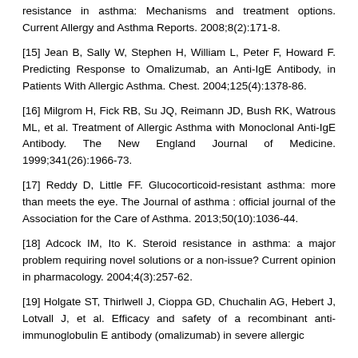resistance in asthma: Mechanisms and treatment options. Current Allergy and Asthma Reports. 2008;8(2):171-8.
[15] Jean B, Sally W, Stephen H, William L, Peter F, Howard F. Predicting Response to Omalizumab, an Anti-IgE Antibody, in Patients With Allergic Asthma. Chest. 2004;125(4):1378-86.
[16] Milgrom H, Fick RB, Su JQ, Reimann JD, Bush RK, Watrous ML, et al. Treatment of Allergic Asthma with Monoclonal Anti-IgE Antibody. The New England Journal of Medicine. 1999;341(26):1966-73.
[17] Reddy D, Little FF. Glucocorticoid-resistant asthma: more than meets the eye. The Journal of asthma : official journal of the Association for the Care of Asthma. 2013;50(10):1036-44.
[18] Adcock IM, Ito K. Steroid resistance in asthma: a major problem requiring novel solutions or a non-issue? Current opinion in pharmacology. 2004;4(3):257-62.
[19] Holgate ST, Thirlwell J, Cioppa GD, Chuchalin AG, Hebert J, Lotvall J, et al. Efficacy and safety of a recombinant anti-immunoglobulin E antibody (omalizumab) in severe allergic...